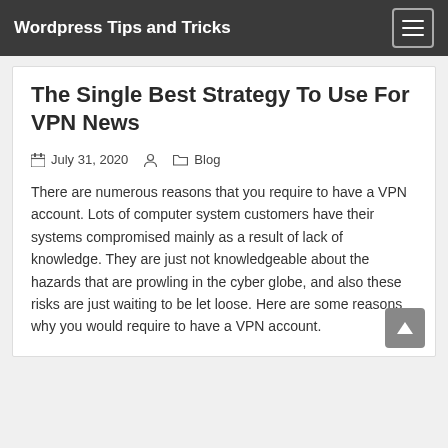Wordpress Tips and Tricks
The Single Best Strategy To Use For VPN News
July 31, 2020   Blog
There are numerous reasons that you require to have a VPN account. Lots of computer system customers have their systems compromised mainly as a result of lack of knowledge. They are just not knowledgeable about the hazards that are prowling in the cyber globe, and also these risks are just waiting to be let loose. Here are some reasons why you would require to have a VPN account.